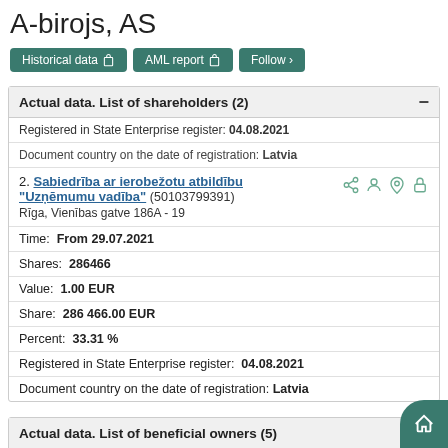A-birojs, AS
Historical data | AML report | Follow
Actual data. List of shareholders (2)
Registered in State Enterprise register: 04.08.2021
Document country on the date of registration: Latvia
2. Sabiedrība ar ierobežotu atbildību "Uzņēmumu vadība" (50103799391)
Rīga, Vienības gatve 186A - 19
Time:  From 29.07.2021
Shares:  286466
Value:  1.00 EUR
Share:  286 466.00 EUR
Percent:  33.31 %
Registered in State Enterprise register:  04.08.2021
Document country on the date of registration: Latvia
Actual data. List of beneficial owners (5)
1. Natural person(s) (xxxxxx-xxxxx)
Time:  From 15.02.2022